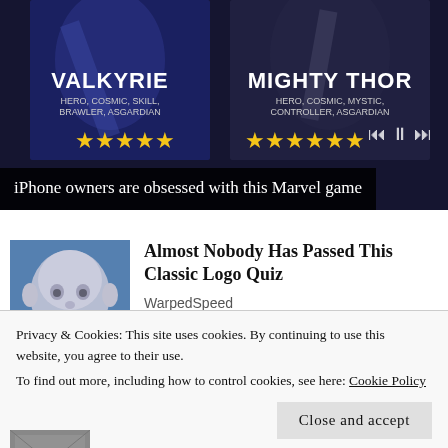[Figure (screenshot): Marvel game advertisement banner showing Valkyrie and Mighty Thor characters with star ratings]
iPhone owners are obsessed with this Marvel game
[Figure (photo): Baby face illustration on blue background - article thumbnail]
Almost Nobody Has Passed This Classic Logo Quiz
WarpedSpeed
Privacy & Cookies: This site uses cookies. By continuing to use this website, you agree to their use.
To find out more, including how to control cookies, see here: Cookie Policy
Close and accept